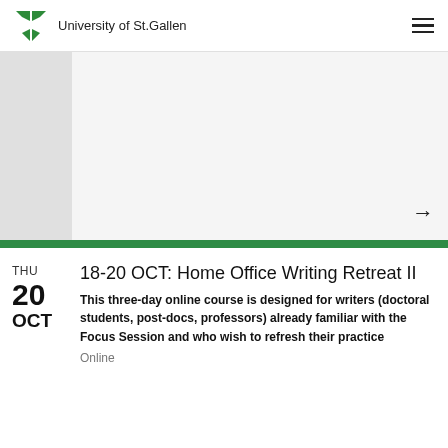University of St.Gallen
[Figure (photo): Gray placeholder image area with left sidebar and right arrow navigation]
18-20 OCT: Home Office Writing Retreat II
This three-day online course is designed for writers (doctoral students, post-docs, professors) already familiar with the Focus Session and who wish to refresh their practice
Online